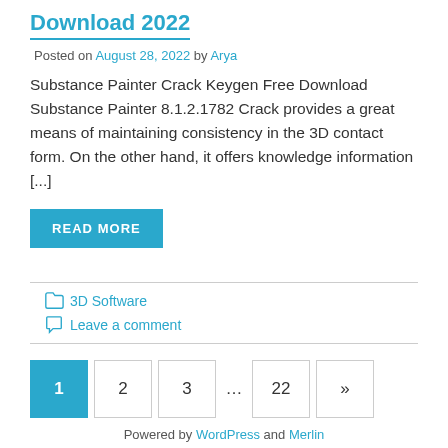Download 2022
Posted on August 28, 2022 by Arya
Substance Painter Crack Keygen Free Download Substance Painter 8.1.2.1782 Crack provides a great means of maintaining consistency in the 3D contact form. On the other hand, it offers knowledge information [...]
READ MORE
3D Software
Leave a comment
1 2 3 … 22 »
Powered by WordPress and Merlin